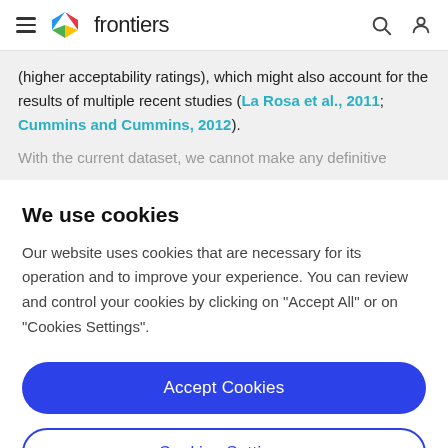frontiers
(higher acceptability ratings), which might also account for the results of multiple recent studies (La Rosa et al., 2011; Cummins and Cummins, 2012).
With the current dataset, we cannot make any definitive
We use cookies
Our website uses cookies that are necessary for its operation and to improve your experience. You can review and control your cookies by clicking on "Accept All" or on "Cookies Settings".
Accept Cookies
Cookies Settings